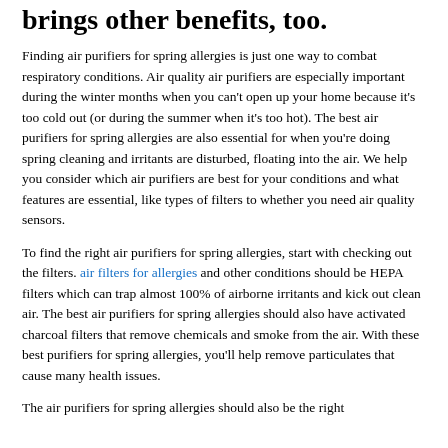brings other benefits, too.
Finding air purifiers for spring allergies is just one way to combat respiratory conditions. Air quality air purifiers are especially important during the winter months when you can't open up your home because it's too cold out (or during the summer when it's too hot). The best air purifiers for spring allergies are also essential for when you're doing spring cleaning and irritants are disturbed, floating into the air. We help you consider which air purifiers are best for your conditions and what features are essential, like types of filters to whether you need air quality sensors.
To find the right air purifiers for spring allergies, start with checking out the filters. air filters for allergies and other conditions should be HEPA filters which can trap almost 100% of airborne irritants and kick out clean air. The best air purifiers for spring allergies should also have activated charcoal filters that remove chemicals and smoke from the air. With these best purifiers for spring allergies, you'll help remove particulates that cause many health issues.
The air purifiers for spring allergies should also be the right